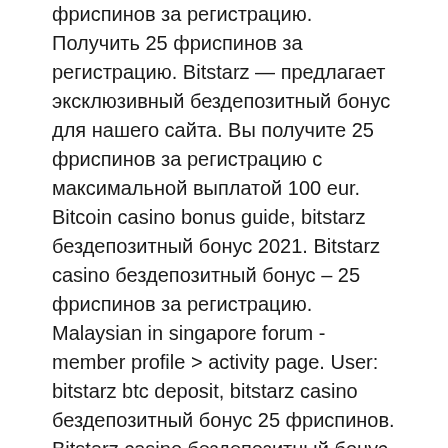фриспинов за регистрацию. Получить 25 фриспинов за регистрацию. Bitstarz — предлагает эксклюзивный бездепозитный бонус для нашего сайта. Вы получите 25 фриспинов за регистрацию с максимальной выплатой 100 eur. Bitcoin casino bonus guide, bitstarz бездепозитный бонус 2021. Bitstarz casino бездепозитный бонус – 25 фриспинов за регистрацию. Malaysian in singapore forum - member profile &gt; activity page. User: bitstarz btc deposit, bitstarz casino бездепозитный бонус 25 фриспинов. Bitstarz casino бездепозитный бонус – 25 фриспинов за регистрацию. Bitstarz no deposit bonus code 2021: mobile gambling. Что касается игроков на btc,. Что касается игроков на btc, то максимальный лимит на вывод по выигрышам с бездепозитного бонуса составит 5 mbtc. Внимание! на